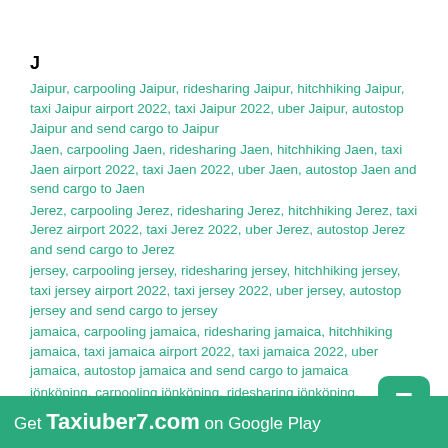J
Jaipur, carpooling Jaipur, ridesharing Jaipur, hitchhiking Jaipur, taxi Jaipur airport 2022, taxi Jaipur 2022, uber Jaipur, autostop Jaipur and send cargo to Jaipur
Jaen, carpooling Jaen, ridesharing Jaen, hitchhiking Jaen, taxi Jaen airport 2022, taxi Jaen 2022, uber Jaen, autostop Jaen and send cargo to Jaen
Jerez, carpooling Jerez, ridesharing Jerez, hitchhiking Jerez, taxi Jerez airport 2022, taxi Jerez 2022, uber Jerez, autostop Jerez and send cargo to Jerez
jersey, carpooling jersey, ridesharing jersey, hitchhiking jersey, taxi jersey airport 2022, taxi jersey 2022, uber jersey, autostop jersey and send cargo to jersey
jamaica, carpooling jamaica, ridesharing jamaica, hitchhiking jamaica, taxi jamaica airport 2022, taxi jamaica 2022, uber jamaica, autostop jamaica and send cargo to jamaica
jönköping, carpooling jönköping, ridesharing jönköping, hitchhiking jönköping, taxi jönköping airport 2022, taxi jönköping 2022, uber jönköping
Get Taxiuber7.com on Google Play